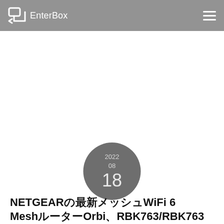EnterBox
[Figure (other): Date badge circle showing 2022 / 08 / 18]
NETGEARの最新メッシュWiFi 6 MeshルーターOrbi、RBK763/RBK763